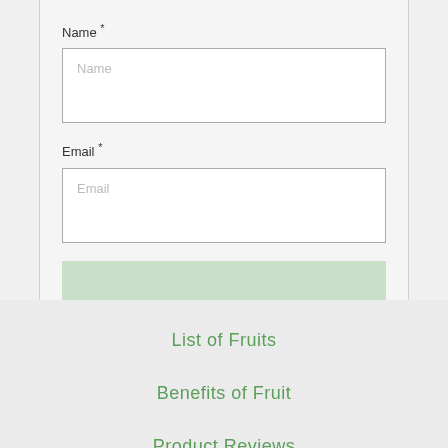Name *
[Figure (screenshot): Name text input field with placeholder text 'Name']
Email *
[Figure (screenshot): Email text input field with placeholder text 'Email']
[Figure (screenshot): COMMENT button with light green background]
List of Fruits
Benefits of Fruit
Product Reviews
Giveaways